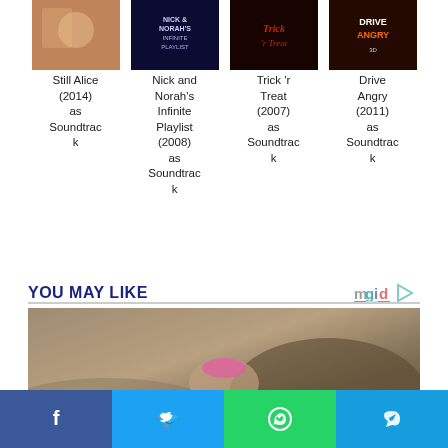[Figure (photo): Movie poster for Still Alice (2014)]
Still Alice (2014) as Soundtrack
[Figure (photo): Movie poster for Nick and Norah's Infinite Playlist (2008)]
Nick and Norah's Infinite Playlist (2008) as Soundtrack
[Figure (photo): Movie poster for Trick 'r Treat (2007)]
Trick 'r Treat (2007) as Soundtrack
[Figure (photo): Movie poster for Drive Angry (2011)]
Drive Angry (2011) as Soundtrack
YOU MAY LIKE
[Figure (photo): Promotional image for a recommended article showing a person lying on rocks outdoors.]